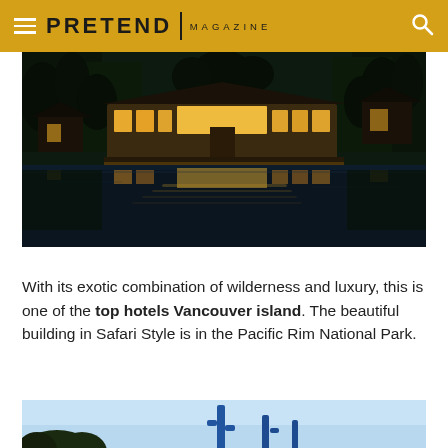PRETEND | MAGAZINE
[Figure (photo): Nighttime photo of a large glass-walled lodge building reflected in a calm lake, surrounded by dark trees]
With its exotic combination of wilderness and luxury, this is one of the top hotels Vancouver island. The beautiful building in Safari Style is in the Pacific Rim National Park.
[Figure (photo): Partial bottom photo showing blue sky and tall cactus-like structures]